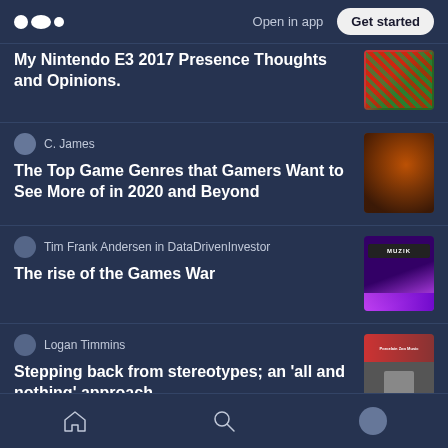Medium app navigation bar with logo, 'Open in app', and 'Get started' button
My Nintendo E3 2017 Presence Thoughts and Opinions.
The Top Game Genres that Gamers Want to See More of in 2020 and Beyond
C. James
The rise of the Games War
Tim Frank Andersen in DataDrivenInvestor
Stepping back from stereotypes; an 'all and nothing' approach
Logan Timmins
Bottom navigation bar with home, search, and profile icons